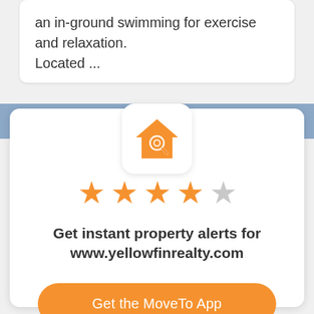an in-ground swimming for exercise and relaxation. Located ...
[Figure (logo): Orange house with magnifying glass icon (MoveTo/YellowfinRealty app icon) on white rounded square background]
[Figure (infographic): 4 out of 5 orange stars rating]
Get instant property alerts for www.yellowfinrealty.com
Get the MoveTo App
Not Now